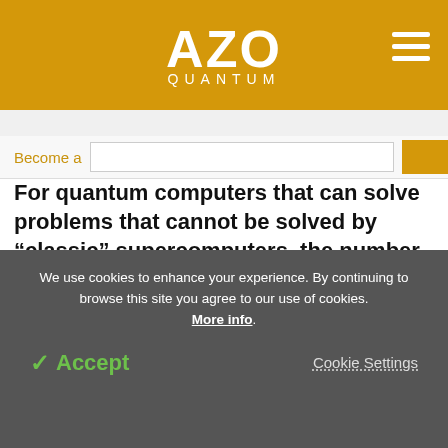AZO QUANTUM
Become a
For quantum computers that can solve problems that cannot be solved by “classic” supercomputers, the number 50 is a critical number as at least 50 so-called “qubits” are required to prove “quantum supremacy.”
[Figure (photo): Dark/black image area at bottom of article]
We use cookies to enhance your experience. By continuing to browse this site you agree to our use of cookies. More info.
✓ Accept
Cookie Settings